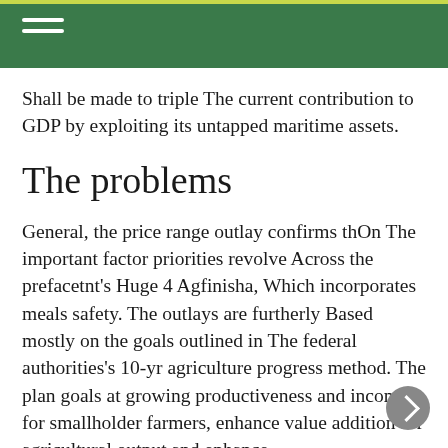Shall be made to triple The current contribution to GDP by exploiting its untapped maritime assets.
The problems
General, the price range outlay confirms thOn The important factor priorities revolve Across the prefacetnt's Huge 4 Agfinisha, Which incorporates meals safety. The outlays are furtherly Based mostly on the goals outlined in The federal authorities's 10-yr agriculture progress method. The plan goals at growing productiveness and incomes for smallholder farmers, enhance value addition for agricultural output and enhance